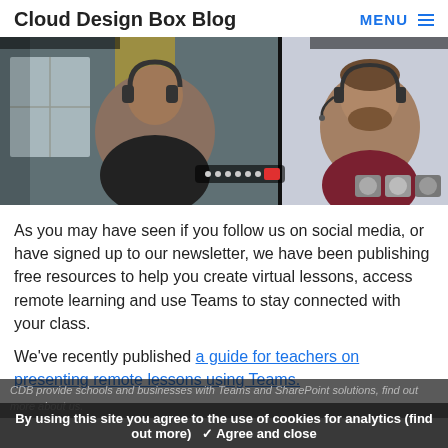Cloud Design Box Blog   MENU ≡
[Figure (screenshot): Screenshot of a Microsoft Teams video call showing two participants: on the left, a person wearing headphones in a room with a window and yellow curtains; on the right, a man with a beard wearing a headset in a bright room. Teams meeting controls are visible at the bottom center, and small participant thumbnails appear at the bottom right.]
As you may have seen if you follow us on social media, or have signed up to our newsletter, we have been publishing free resources to help you create virtual lessons, access remote learning and use Teams to stay connected with your class.
We've recently published a guide for teachers on presenting remote lessons using Teams.
CDB provide schools and businesses with Teams and SharePoint solutions, find out more about us.
By using this site you agree to the use of cookies for analytics (find out more)   ✓ Agree and close